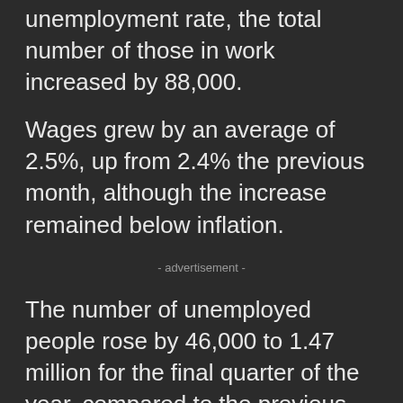unemployment rate, the total number of those in work increased by 88,000.
Wages grew by an average of 2.5%, up from 2.4% the previous month, although the increase remained below inflation.
- advertisement -
The number of unemployed people rose by 46,000 to 1.47 million for the final quarter of the year, compared to the previous three months.
The unemployment rate counts people who are registered as looking for work as a